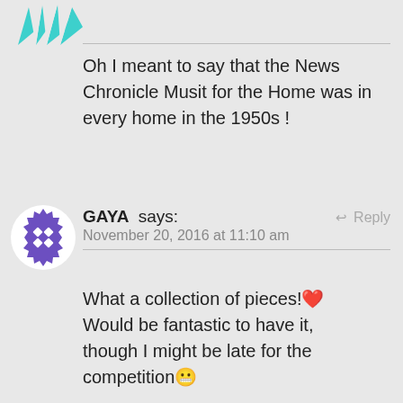[Figure (illustration): Partial teal/cyan decorative avatar or logo at top left, partially cropped]
Oh I meant to say that the News Chronicle Musit for the Home was in every home in the 1950s!
[Figure (illustration): Purple circular avatar with dice-like pattern in center, white background]
GAYA says:  ↩ Reply  November 20, 2016 at 11:10 am
What a collection of pieces!❤ Would be fantastic to have it, though I might be late for the competition😬